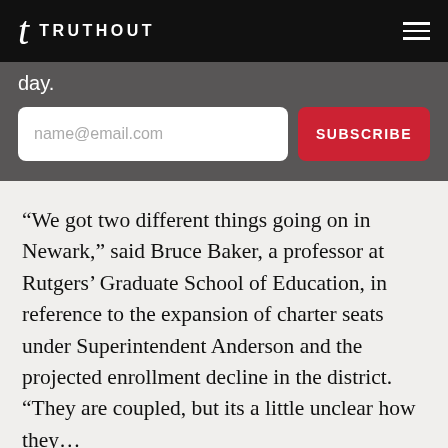TRUTHOUT
day.
name@email.com  SUBSCRIBE
“We got two different things going on in Newark,” said Bruce Baker, a professor at Rutgers’ Graduate School of Education, in reference to the expansion of charter seats under Superintendent Anderson and the projected enrollment decline in the district. “They are coupled, but its a little unclear how they…”